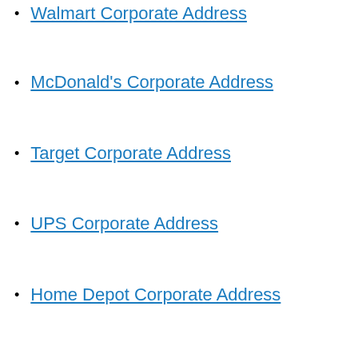Walmart Corporate Address
McDonald's Corporate Address
Target Corporate Address
UPS Corporate Address
Home Depot Corporate Address